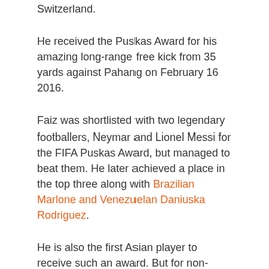Switzerland.
He received the Puskas Award for his amazing long-range free kick from 35 yards against Pahang on February 16 2016.
Faiz was shortlisted with two legendary footballers, Neymar and Lionel Messi for the FIFA Puskas Award, but managed to beat them. He later achieved a place in the top three along with Brazilian Marlone and Venezuelan Daniuska Rodriguez.
He is also the first Asian player to receive such an award. But for non-football fans, who is Mohd Faiz Subri?
Well, here’s some information about him.